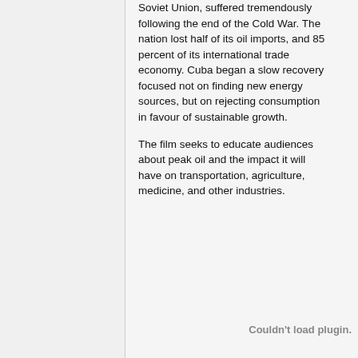Soviet Union, suffered tremendously following the end of the Cold War. The nation lost half of its oil imports, and 85 percent of its international trade economy. Cuba began a slow recovery focused not on finding new energy sources, but on rejecting consumption in favour of sustainable growth.
The film seeks to educate audiences about peak oil and the impact it will have on transportation, agriculture, medicine, and other industries.